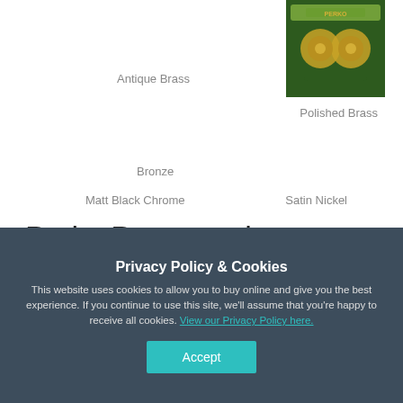Antique Brass
[Figure (photo): Polished Brass door hardware product photo on green background]
Polished Brass
Bronze
Matt Black Chrome
Satin Nickel
Perko Powermatic Concealed Door Control in Various Finishes
Privacy Policy & Cookies
This website uses cookies to allow you to buy online and give you the best experience. If you continue to use this site, we'll assume that you're happy to receive all cookies. View our Privacy Policy here.